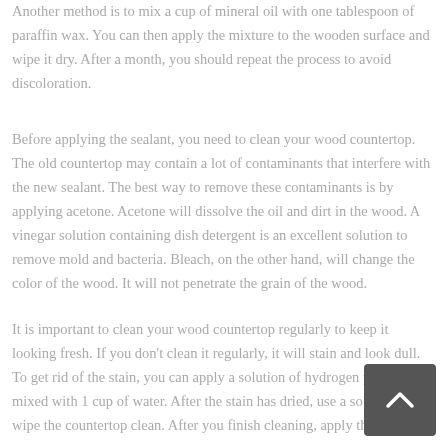Another method is to mix a cup of mineral oil with one tablespoon of paraffin wax. You can then apply the mixture to the wooden surface and wipe it dry. After a month, you should repeat the process to avoid discoloration.
Before applying the sealant, you need to clean your wood countertop. The old countertop may contain a lot of contaminants that interfere with the new sealant. The best way to remove these contaminants is by applying acetone. Acetone will dissolve the oil and dirt in the wood. A vinegar solution containing dish detergent is an excellent solution to remove mold and bacteria. Bleach, on the other hand, will change the color of the wood. It will not penetrate the grain of the wood.
It is important to clean your wood countertop regularly to keep it looking fresh. If you don't clean it regularly, it will stain and look dull. To get rid of the stain, you can apply a solution of hydrogen peroxide mixed with 1 cup of water. After the stain has dried, use a soft cloth to wipe the countertop clean. After you finish cleaning, apply the finish.